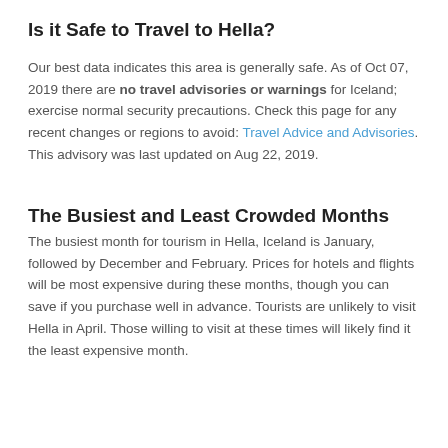Is it Safe to Travel to Hella?
Our best data indicates this area is generally safe. As of Oct 07, 2019 there are no travel advisories or warnings for Iceland; exercise normal security precautions. Check this page for any recent changes or regions to avoid: Travel Advice and Advisories. This advisory was last updated on Aug 22, 2019.
The Busiest and Least Crowded Months
The busiest month for tourism in Hella, Iceland is January, followed by December and February. Prices for hotels and flights will be most expensive during these months, though you can save if you purchase well in advance. Tourists are unlikely to visit Hella in April. Those willing to visit at these times will likely find it the least expensive month.